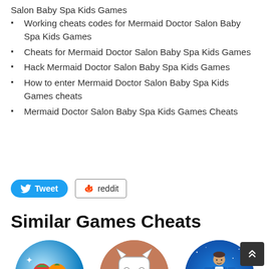Salon Baby Spa Kids Games
Working cheats codes for Mermaid Doctor Salon Baby Spa Kids Games
Cheats for Mermaid Doctor Salon Baby Spa Kids Games
Hack Mermaid Doctor Salon Baby Spa Kids Games
How to enter Mermaid Doctor Salon Baby Spa Kids Games cheats
Mermaid Doctor Salon Baby Spa Kids Games Cheats
[Figure (infographic): Tweet and Reddit social sharing buttons]
Similar Games Cheats
[Figure (illustration): Three circular game icons showing a fruit match game, a cat game, and a man walking game]